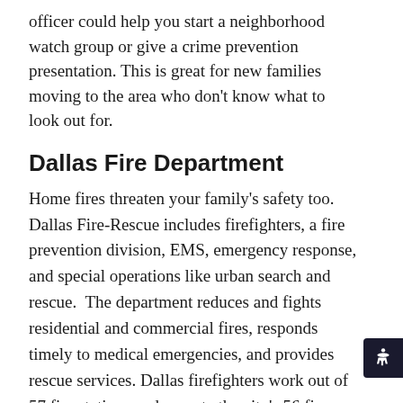officer could help you start a neighborhood watch group or give a crime prevention presentation. This is great for new families moving to the area who don't know what to look out for.
Dallas Fire Department
Home fires threaten your family's safety too. Dallas Fire-Rescue includes firefighters, a fire prevention division, EMS, emergency response, and special operations like urban search and rescue.  The department reduces and fights residential and commercial fires, responds timely to medical emergencies, and provides rescue services. Dallas firefighters work out of 57 fire stations and operate the city's 56 fire engines, 5 aircraft rescue firefighting apparatuses, 22 aerial ladder trucks, 9